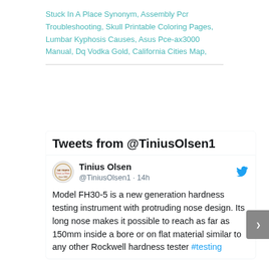Stuck In A Place Synonym, Assembly Pcr Troubleshooting, Skull Printable Coloring Pages, Lumbar Kyphosis Causes, Asus Pce-ax3000 Manual, Dq Vodka Gold, California Cities Map,
[Figure (screenshot): Twitter widget showing tweets from @TiniusOlsen1, with a tweet from Tinius Olsen (@TiniusOlsen1 · 14h) reading: Model FH30-5 is a new generation hardness testing instrument with protruding nose design. Its long nose makes it possible to reach as far as 150mm inside a bore or on flat material similar to any other Rockwell hardness tester #testing]